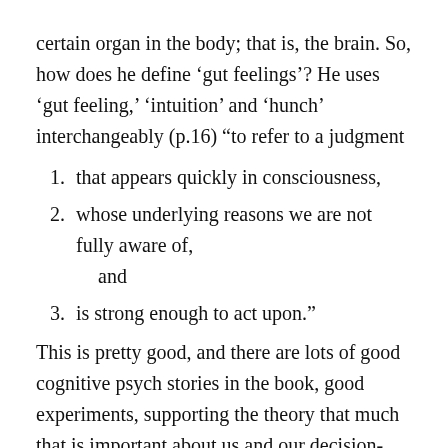certain organ in the body; that is, the brain. So, how does he define ‘gut feelings’? He uses ‘gut feeling,’ ‘intuition’ and ‘hunch’ interchangeably (p.16) “to refer to a judgment
that appears quickly in consciousness,
whose underlying reasons we are not fully aware of, and
is strong enough to act upon.”
This is pretty good, and there are lots of good cognitive psych stories in the book, good experiments, supporting the theory that much that is important about us and our decision-making goes on out of sight. However, I thought, “Can this be, that he doesn’t know about